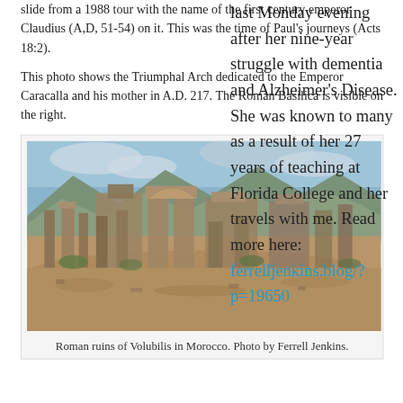slide from a 1988 tour with the name of the first century emperor Claudius (A,D, 51-54) on it. This was the time of Paul's journeys (Acts 18:2).
This photo shows the Triumphal Arch dedicated to the Emperor Caracalla and his mother in A.D. 217. The Roman Basilica is visible on the right.
[Figure (photo): Roman ruins of Volubilis in Morocco, showing ancient stone columns and walls with mountains in background under cloudy sky.]
Roman ruins of Volubilis in Morocco. Photo by Ferrell Jenkins.
last Monday evening after her nine-year struggle with dementia and Alzheimer's Disease. She was known to many as a result of her 27 years of teaching at Florida College and her travels with me. Read more here: ferrelljenkins.blog/?p=19650